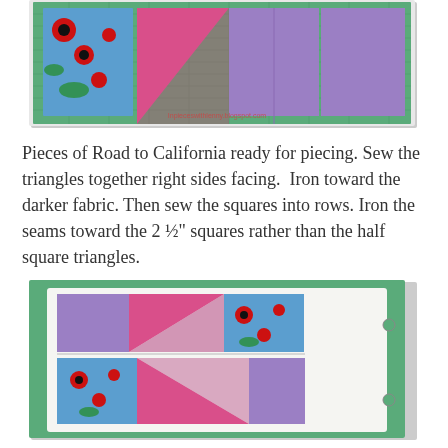[Figure (photo): Photo of Road to California quilt pieces laid out on a cutting mat, showing fabric squares with ladybug print, pink triangles, and purple squares arranged in a row.]
Pieces of Road to California ready for piecing. Sew the triangles together right sides facing.  Iron toward the darker fabric. Then sew the squares into rows. Iron the seams toward the 2 ½″ squares rather than the half square triangles.
[Figure (photo): Photo of quilt block rows being assembled on a white surface over a green cutting mat, showing two rows of purple squares, ladybug print fabric, and pink triangles sewn together, with a metal ring binder on the right side.]